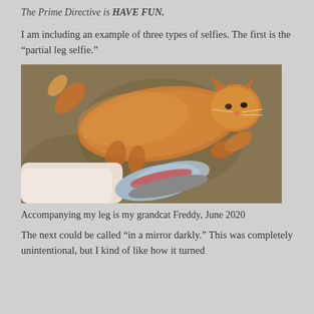The Prime Directive is HAVE FUN.
I am including an example of three types of selfies. The first is the “partial leg selfie.”
[Figure (photo): A fluffy orange cat lying on brown carpet, with a human leg wearing a gray and red sneaker visible in the lower portion of the image.]
Accompanying my leg is my grandcat Freddy, June 2020
The next could be called “in a mirror darkly.” This was completely unintentional, but I kind of like how it turned